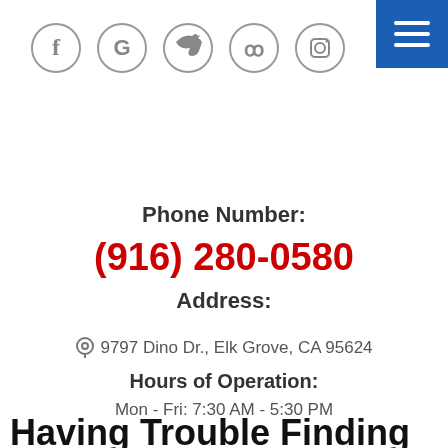[Figure (other): Social media icons in circles: Facebook, Google, Twitter, Yelp, Instagram]
Phone Number:
(916) 280-0580
Address:
9797 Dino Dr., Elk Grove, CA 95624
Hours of Operation:
Mon - Fri: 7:30 AM - 5:30 PM
Having Trouble Finding Us?